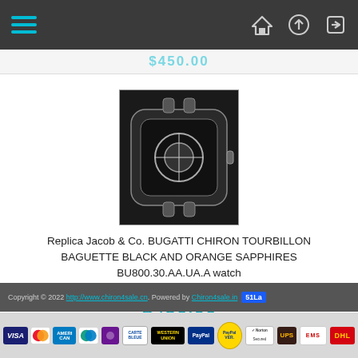Navigation bar with hamburger menu and icons
$450.00
[Figure (photo): Product photo of Jacob & Co. Bugatti Chiron Tourbillon watch — skeleton design with silver case on dark background]
Replica Jacob & Co. BUGATTI CHIRON TOURBILLON BAGUETTE BLACK AND ORANGE SAPPHIRES BU800.30.AA.UA.A watch
$450.00
Copyright © 2022 http://www.chiron4sale.cn. Powered by Chiron4sale.in 51La
[Figure (logo): Payment method logos: Visa, MasterCard, American Express, Maestro, unknown, Carte Bleue, Western Union, PayPal, PayPal Verified, Norton Secured, UPS, EMS, DHL]